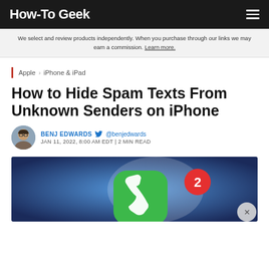How-To Geek
We select and review products independently. When you purchase through our links we may earn a commission. Learn more.
Apple › iPhone & iPad
How to Hide Spam Texts From Unknown Senders on iPhone
BENJ EDWARDS @benjedwards JAN 11, 2022, 8:00 AM EDT | 2 MIN READ
[Figure (photo): Hero image showing a green phone icon with a red badge showing the number 2, on a blue gradient background]